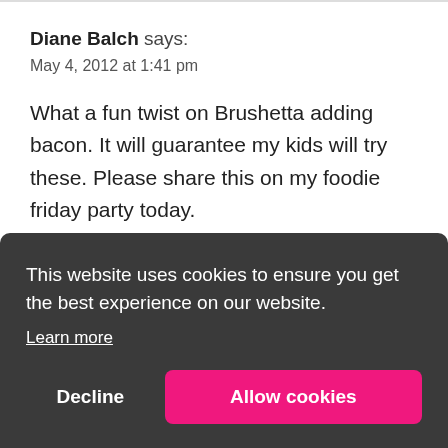Diane Balch says:
May 4, 2012 at 1:41 pm
What a fun twist on Brushetta adding bacon. It will guarantee my kids will try these. Please share this on my foodie friday party today.
This website uses cookies to ensure you get the best experience on our website.
Learn more
Decline
Allow cookies